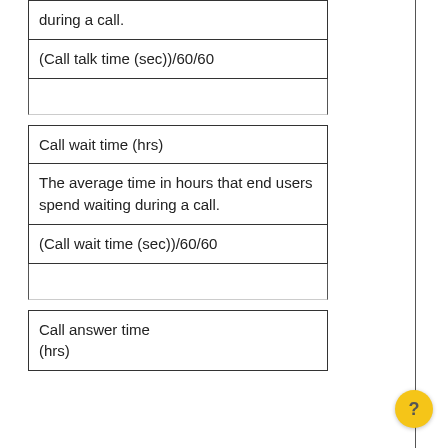| during a call. |
| (Call talk time (sec))/60/60 |
|  |
| Call wait time (hrs) |
| The average time in hours that end users spend waiting during a call. |
| (Call wait time (sec))/60/60 |
|  |
| Call answer time (hrs) |